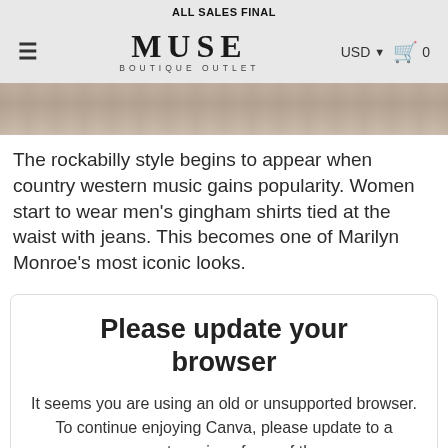ALL SALES FINAL
MUSE BOUTIQUE OUTLET  USD  0
[Figure (photo): Partial product image showing a textured tile/hexagon background in muted pink and beige tones, cropped at top of page.]
The rockabilly style begins to appear when country western music gains popularity. Women start to wear men's gingham shirts tied at the waist with jeans. This becomes one of Marilyn Monroe's most iconic looks.
Please update your browser
It seems you are using an old or unsupported browser. To continue enjoying Canva, please update to a recent version of one of the